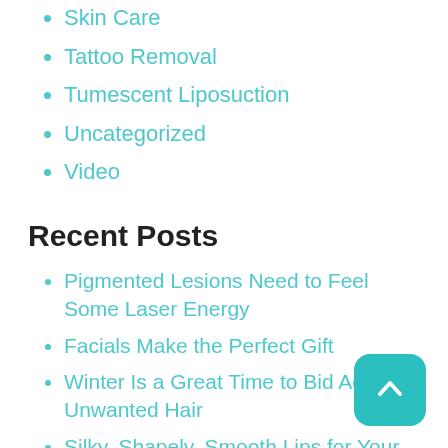Skin Care
Tattoo Removal
Tumescent Liposuction
Uncategorized
Video
Recent Posts
Pigmented Lesions Need to Feel Some Laser Energy
Facials Make the Perfect Gift
Winter Is a Great Time to Bid Adieu to Unwanted Hair
Silky, Shapely, Smooth Lips for Your Holiday Parties
Getting the Most Out of Liposuction for